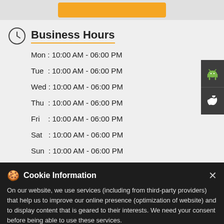[Figure (screenshot): Orange button in grey top bar area]
Business Hours
Mon : 10:00 AM - 06:00 PM
Tue  : 10:00 AM - 06:00 PM
Wed : 10:00 AM - 06:00 PM
Thu  : 10:00 AM - 06:00 PM
Fri    : 10:00 AM - 06:00 PM
Sat   : 10:00 AM - 06:00 PM
Sun  : 10:00 AM - 06:00 PM
Cookie Information
On our website, we use services (including from third-party providers) that help us to improve our online presence (optimization of website) and to display content that is geared to their interests. We need your consent before being able to use these services.
Plus Code Of Motilal Oswal Finanç...
Open an account